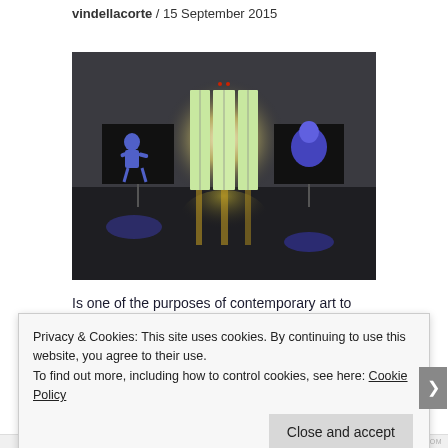vindellacorte / 15 September 2015
[Figure (photo): Art gallery installation photo showing a dark room with two illuminated screens on stands on left and right sides, and bright light streaming through three tall windows in the center background, with reflections on the polished floor.]
Is one of the purposes of contemporary art to push constantly beyond the “limit”? Is it always about being one step ahead? Is it possible to be a painter
Privacy & Cookies: This site uses cookies. By continuing to use this website, you agree to their use.
To find out more, including how to control cookies, see here: Cookie Policy
Close and accept